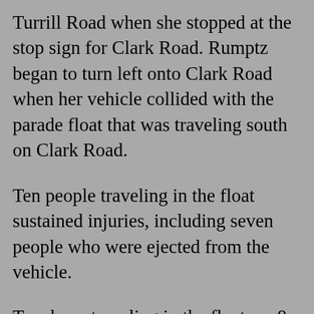Turrill Road when she stopped at the stop sign for Clark Road. Rumptz began to turn left onto Clark Road when her vehicle collided with the parade float that was traveling south on Clark Road.
Ten people traveling in the float sustained injuries, including seven people who were ejected from the vehicle.
Two boys traveling in the float, an 8- and 9-year-old from North Branch, were treated and released. The other eight people on the float ranged in age from 50-83.